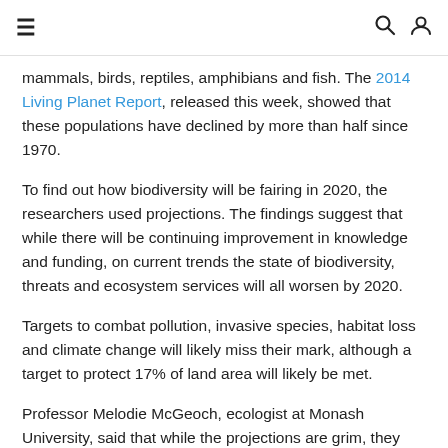≡  🔍  👤
mammals, birds, reptiles, amphibians and fish. The 2014 Living Planet Report, released this week, showed that these populations have declined by more than half since 1970.
To find out how biodiversity will be fairing in 2020, the researchers used projections. The findings suggest that while there will be continuing improvement in knowledge and funding, on current trends the state of biodiversity, threats and ecosystem services will all worsen by 2020.
Targets to combat pollution, invasive species, habitat loss and climate change will likely miss their mark, although a target to protect 17% of land area will likely be met.
Professor Melodie McGeoch, ecologist at Monash University, said that while the projections are grim, they don't have to be.
“Unlike climate change projections, we are not committed to these trajectory estimates. They can be turned around, or at least slowed down.